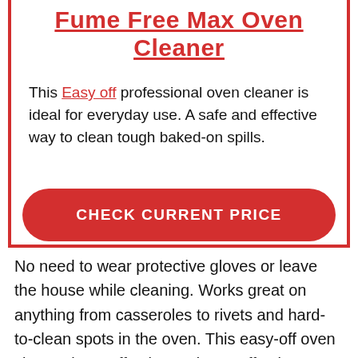Fume Free Max Oven Cleaner
This Easy off professional oven cleaner is ideal for everyday use. A safe and effective way to clean tough baked-on spills.
CHECK CURRENT PRICE
No need to wear protective gloves or leave the house while cleaning. Works great on anything from casseroles to rivets and hard-to-clean spots in the oven. This easy-off oven cleaner is an effective and cost-effective way to clean tough baked-on spills in your oven. You can use this when you